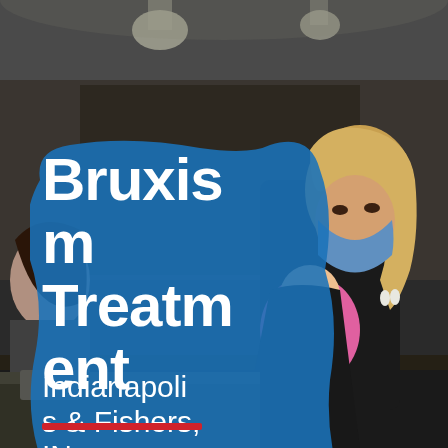[Figure (photo): A woman wearing a blue face mask holding a baby in a pink outfit with a pacifier, inside what appears to be a dental or medical office waiting area with modern decor.]
Bruxism Treatment
Indianapolis & Fishers, IN